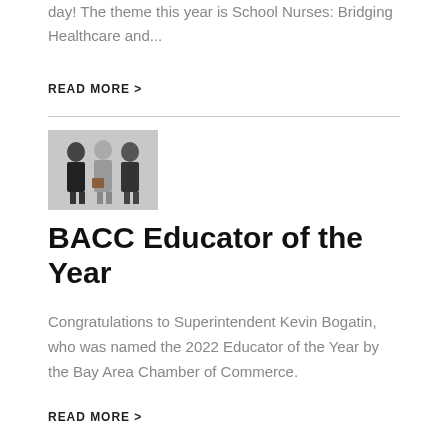day! The theme this year is School Nurses: Bridging Healthcare and...
READ MORE >
[Figure (photo): Three people standing together, one holding a plaque award]
BACC Educator of the Year
Congratulations to Superintendent Kevin Bogatin, who was named the 2022 Educator of the Year by the Bay Area Chamber of Commerce.
READ MORE >